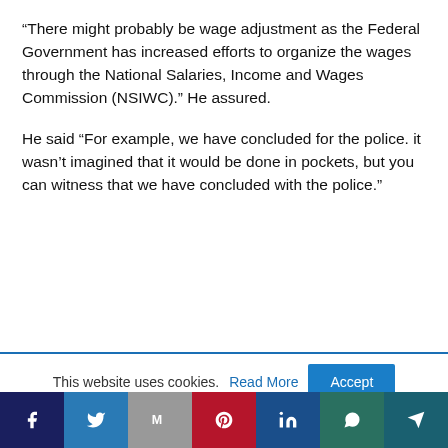“There might probably be wage adjustment as the Federal Government has increased efforts to organize the wages through the National Salaries, Income and Wages Commission (NSIWC).” He assured.
He said “For example, we have concluded for the police. it wasn’t imagined that it would be done in pockets, but you can witness that we have concluded with the police.”
This website uses cookies. Read More  Accept
Social share buttons: Facebook, Twitter, Email, Pinterest, LinkedIn, WhatsApp, Telegram